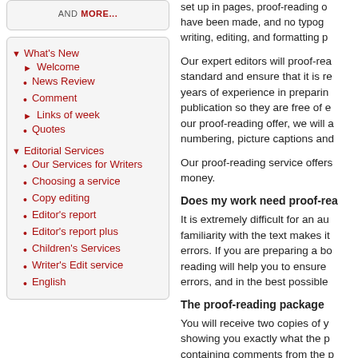AND MORE...
What's New
Welcome
News Review
Comment
Links of week
Quotes
Editorial Services
Our Services for Writers
Choosing a service
Copy editing
Editor's report
Editor's report plus
Children's Services
Writer's Edit service
English
set up in pages, proof-reading once all changes have been made, and no typo... writing, editing, and formatting p...
Our expert editors will proof-rea... standard and ensure that it is re... years of experience in preparing... publication so they are free of e... our proof-reading offer, we will a... numbering, picture captions and...
Our proof-reading service offers... money.
Does my work need proof-rea...
It is extremely difficult for an au... familiarity with the text makes it... errors. If you are preparing a bo... reading will help you to ensure... errors, and in the best possible...
The proof-reading package
You will receive two copies of y... showing you exactly what the p... containing comments from the p...